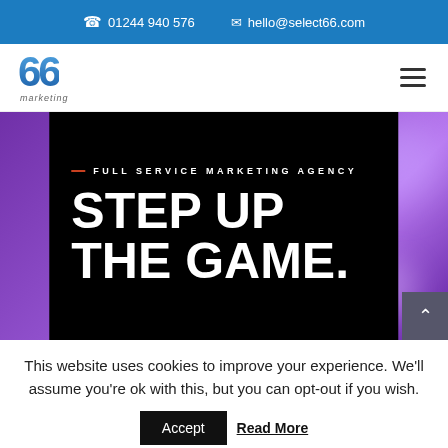01244 940 576   hello@select66.com
[Figure (logo): 66 Marketing logo — stylized blue '66' with 'marketing' text below]
[Figure (screenshot): Hero banner on black background: '— FULL SERVICE MARKETING AGENCY' subtitle, then large white bold text 'STEP UP THE GAME.' on black panel over purple blurred background]
This website uses cookies to improve your experience. We'll assume you're ok with this, but you can opt-out if you wish.
Accept   Read More